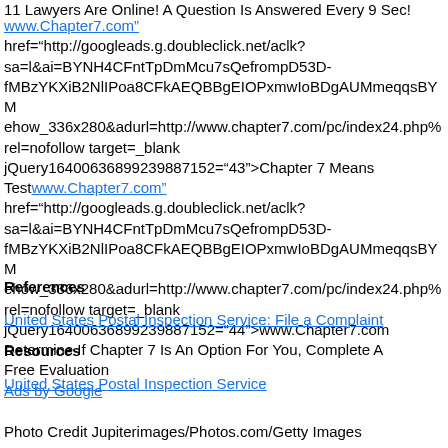11 Lawyers Are Online! A Question Is Answered Every 9 Sec!
www.Chapter7.com"
href="http://googleads.g.doubleclick.net/aclk?sa=l&ai=BYNH4CFntTpDmMcu7sQefrompD53D-fMBzYKXiB2NlIPoa8CFkAEQBBgEIOPxmwIoBDgAUMmeqqsBYMehow_336x280&adurl=http://www.chapter7.com/pc/index24.php%rel=nofollow target=_blank jQuery16400636899239887152="43">Chapter 7 Means Testwww.Chapter7.com"
href="http://googleads.g.doubleclick.net/aclk?sa=l&ai=BYNH4CFntTpDmMcu7sQefrompD53D-fMBzYKXiB2NlIPoa8CFkAEQBBgEIOPxmwIoBDgAUMmeqqsBYMehow_336x280&adurl=http://www.chapter7.com/pc/index24.php%rel=nofollow target=_blank jQuery16400636899239887152="44">www.Chapter7.com Determine If Chapter 7 Is An Option For You, Complete A Free Evaluation
Ads by Google
References
United States Postal Inspection Service: File a Complaint
Resources
United States Postal Inspection Service
Photo Credit Jupiterimages/Photos.com/Getty Images